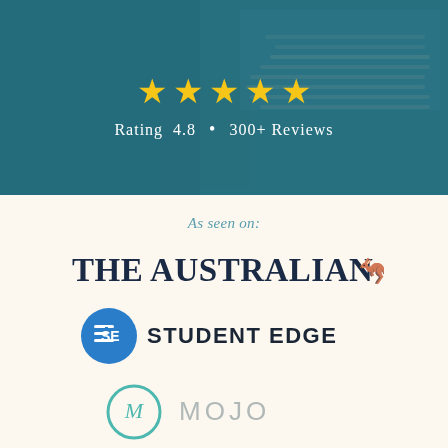[Figure (infographic): Top banner with teal/blue background overlay showing an open book in the background. Five gold stars displayed prominently, with text 'Rating 4.8 • 300+ Reviews' below in white.]
Rating 4.8 • 300+ Reviews
As seen on:
[Figure (logo): The Australian newspaper logo in dark navy bold serif font with a red kangaroo icon to the right]
[Figure (logo): Student Edge logo: blue circle with 'SE' icon on left, 'STUDENT EDGE' text in dark bold sans-serif on right]
[Figure (logo): Mojo logo: teal circle with letter M in center on left, 'MOJO' text in gray on right]
[Figure (logo): Finder logo partially visible at bottom: blue circular icon with 'finder' text]